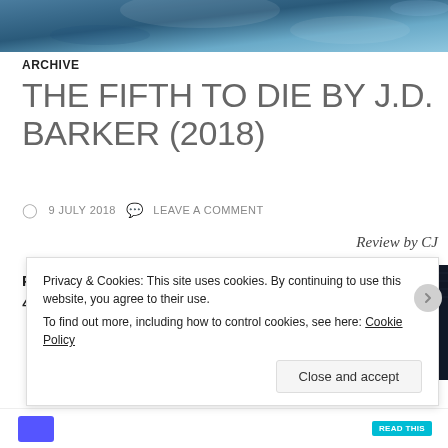[Figure (photo): Dark blue/teal abstract header image, appears to be water or ice texture]
ARCHIVE
THE FIFTH TO DIE BY J.D. BARKER (2018)
9 JULY 2018   LEAVE A COMMENT
Review by CJ
Page count:
416
[Figure (photo): Book cover of The Fifth to Die by J.D. Barker, dark background with blue stylized text 'THE']
Privacy & Cookies: This site uses cookies. By continuing to use this website, you agree to their use.
To find out more, including how to control cookies, see here: Cookie Policy
Close and accept